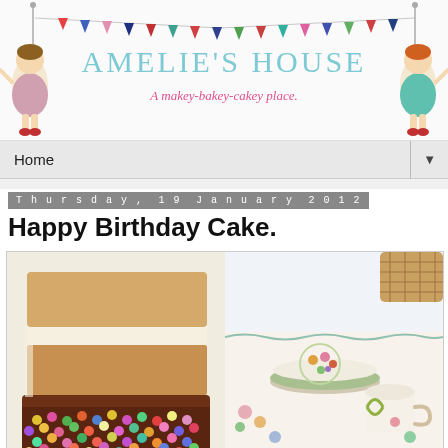[Figure (illustration): Amelie's House blog header banner with two illustrated girls holding a bunting banner, site title 'AMELIE'S HOUSE' in teal, tagline 'A makey-bakey-cakey place.' in pink]
Home ▼
Thursday, 19 January 2012
Happy Birthday Cake.
[Figure (photo): Two side-by-side food/lifestyle photos: left shows a close-up slice of layered birthday cake with chocolate frosting covered in colorful sprinkle balls; right shows vintage floral china plates with a floral tablecloth and a ribbon-tied cup]